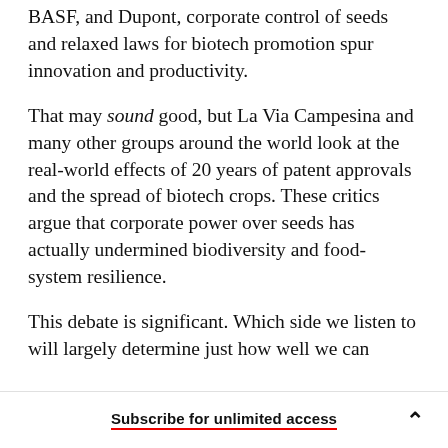BASF, and Dupont, corporate control of seeds and relaxed laws for biotech promotion spur innovation and productivity.
That may sound good, but La Via Campesina and many other groups around the world look at the real-world effects of 20 years of patent approvals and the spread of biotech crops. These critics argue that corporate power over seeds has actually undermined biodiversity and food-system resilience.
This debate is significant. Which side we listen to will largely determine just how well we can
Subscribe for unlimited access